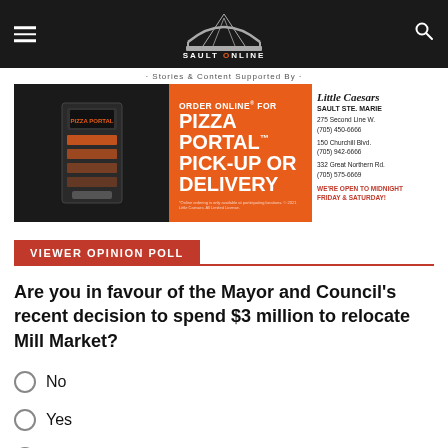Sault Online
· Stories & Content Supported By ·
[Figure (photo): Little Caesars Pizza Portal advertisement banner. Orange background. Left side shows a Pizza Portal kiosk machine (dark). Center text: ORDER ONLINE FOR PIZZA PORTAL™ PICK-UP OR DELIVERY. Right side: Little Caesars logo, SAULT STE. MARIE, 275 Second Line W. (705) 450-6666, 150 Churchill Blvd. (705) 942-6666, 332 Great Northern Rd. (705) 575-6669, WE'RE OPEN TO MIDNIGHT FRIDAY & SATURDAY!]
VIEWER OPINION POLL
Are you in favour of the Mayor and Council's recent decision to spend $3 million to relocate Mill Market?
No
Yes